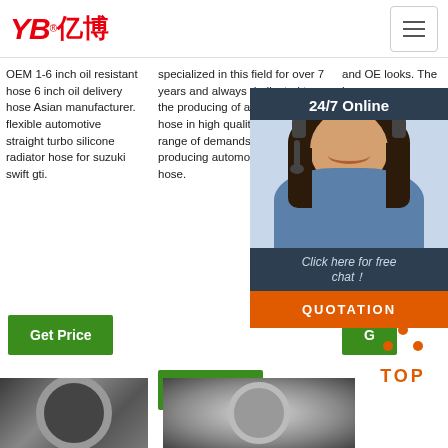[Figure (logo): YB亿博 logo in red with registered trademark symbol]
OEM 1-6 inch oil resistant hose 6 inch oil delivery hose Asian manufacturer. flexible automotive straight turbo silicone radiator hose for suzuki swift gti.
specialized in this field for over 7 years and always dedicated to the producing of auto silicone hose in high quality, with a wide range of demands, mainly producing automotive silicone hose.
and OE looks. The hose... heat... which... suitable... hot... applications... as i... heat... system...
Get Price
Get Price
G...
[Figure (photo): Chat overlay with 24/7 Online header, agent photo with headset, 'Click here for free chat!' text, and QUOTATION orange button]
[Figure (illustration): TOP button with orange dots forming upward triangle and orange TOP text]
[Figure (photo): Bottom product image 1 - dark metal hose/fitting]
[Figure (photo): Bottom product image 2 - circular metal fitting/hose end]